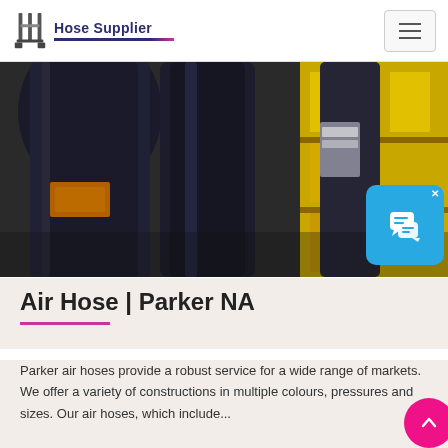Hose Supplier
[Figure (photo): Close-up photograph of industrial rubber hoses and yellow storage shelving in a warehouse or distribution setting]
[Figure (screenshot): Live chat widget icon — blue rounded square with speech bubble icons and an X close button]
Air Hose | Parker NA
Parker air hoses provide a robust service for a wide range of markets. We offer a variety of constructions in multiple colours, pressures and sizes. Our air hoses, which include...